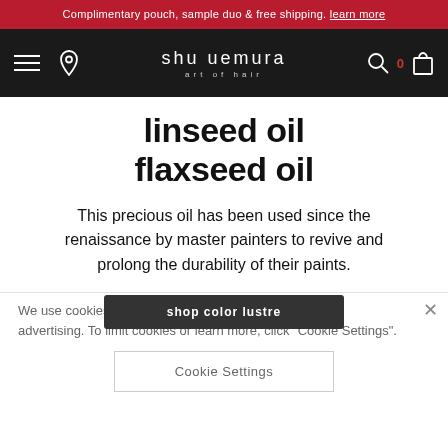Complimentary pouch, sample duo & free shipping. learn more
[Figure (screenshot): Shu Uemura Art of Hair navigation bar with hamburger menu, location pin, logo, search icon, cart count 0, and bag icon]
linseed oil
flaxseed oil
This precious oil has been used since the renaissance by master painters to revive and prolong the durability of their paints.
We use cookies to analyze our site use, traffic, and tailor advertising. To limit cookies or learn more, click "Cookie Settings".
shop color lustre
Cookie Settings